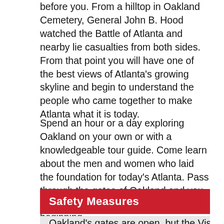before you. From a hilltop in Oakland Cemetery, General John B. Hood watched the Battle of Atlanta and nearby lie casualties from both sides. From that point you will have one of the best views of Atlanta's growing skyline and begin to understand the people who came together to make Atlanta what it is today.
Spend an hour or a day exploring Oakland on your own or with a knowledgeable tour guide. Come learn about the men and women who laid the foundation for today's Atlanta. Pass through the gates of Oakland and you will discover Atlanta's history, from the beginning.
Safety Measures
Oakland's gates are open, but the Visitors